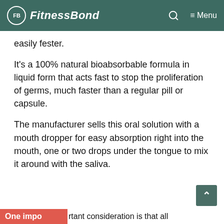FitnessBond
easily fester.
It's a 100% natural bioabsorbable formula in liquid form that acts fast to stop the proliferation of germs, much faster than a regular pill or capsule.
The manufacturer sells this oral solution with a mouth dropper for easy absorption right into the mouth, one or two drops under the tongue to mix it around with the saliva.
One important consideration is that all